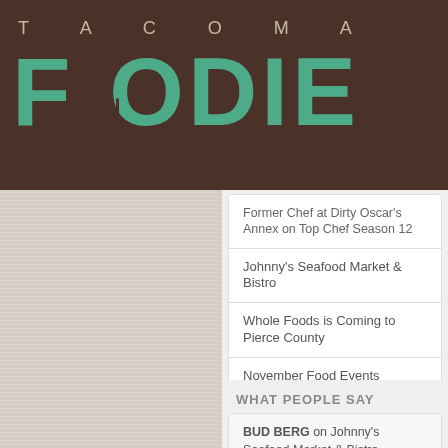TACOMA FOODIE
Former Chef at Dirty Oscar's Annex on Top Chef Season 12
Johnny's Seafood Market & Bistro
Whole Foods is Coming to Pierce County
November Food Events
Olympia's Award-Winning Ranch House BBQ
WHAT PEOPLE SAY
BUD BERG on Johnny's Seafood Market & Bistro
Liane Johnson on Free-Range